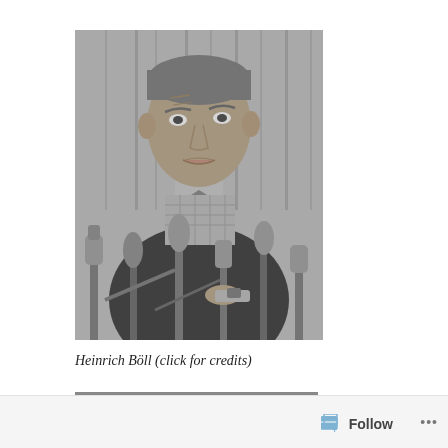[Figure (photo): Black and white photograph of Heinrich Böll, an older man seated behind several microphones at what appears to be a press conference, wearing a blazer and checkered shirt, looking slightly upward with mouth open]
Heinrich Böll (click for credits)